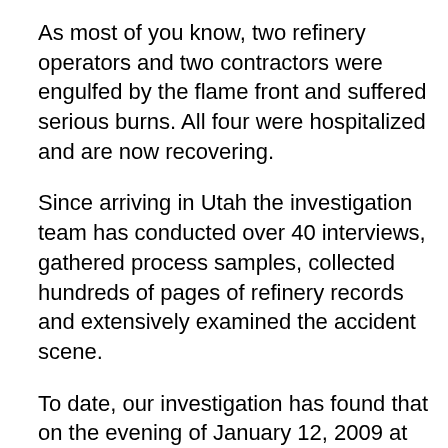As most of you know, two refinery operators and two contractors were engulfed by the flame front and suffered serious burns. All four were hospitalized and are now recovering.
Since arriving in Utah the investigation team has conducted over 40 interviews, gathered process samples, collected hundreds of pages of refinery records and extensively examined the accident scene.
To date, our investigation has found that on the evening of January 12, 2009 at approximately 5:20 pm a large vapor cloud was released from an atmospheric storage tank, known as tank 105, which contained an estimated 440,000 gallons of